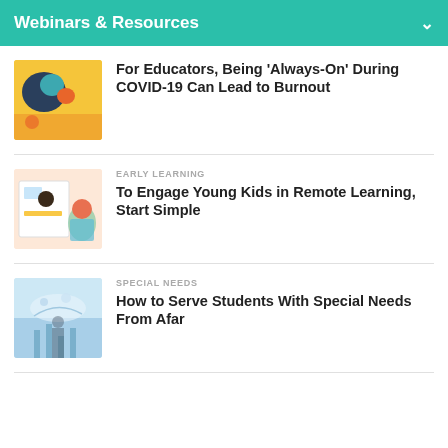Webinars & Resources
For Educators, Being 'Always-On' During COVID-19 Can Lead to Burnout
EARLY LEARNING
To Engage Young Kids in Remote Learning, Start Simple
SPECIAL NEEDS
How to Serve Students With Special Needs From Afar